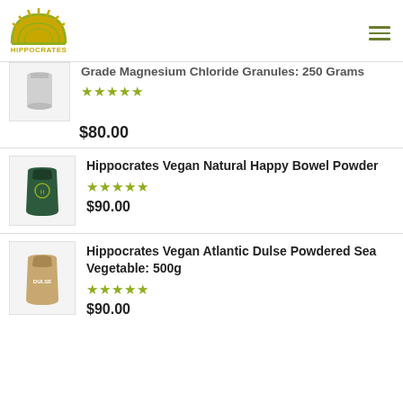[Figure (logo): Hippocrates logo — semicircle sun with rays above text HIPPOCRATES in yellow-green]
Grade Magnesium Chloride Granules: 250 Grams — Rated 5/5 stars — $80.00
Hippocrates Vegan Natural Happy Bowel Powder — Rated 5/5 stars — $90.00
Hippocrates Vegan Atlantic Dulse Powdered Sea Vegetable: 500g — Rated 5/5 stars — $90.00